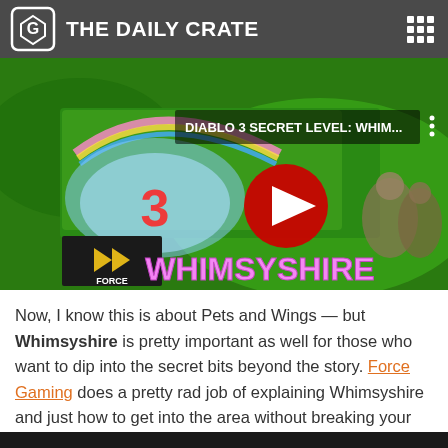THE DAILY CRATE
[Figure (screenshot): YouTube video thumbnail for 'DIABLO 3 SECRET LEVEL: WHIM...' showing Diablo 3 Whimsyshire level with colorful unicorn/rainbow aesthetic logo, Force Gaming channel logo, YouTube play button overlay, and WHIMSYSHIRE text at bottom]
Now, I know this is about Pets and Wings — but Whimsyshire is pretty important as well for those who want to dip into the secret bits beyond the story. Force Gaming does a pretty rad job of explaining Whimsyshire and just how to get into the area without breaking your neck seeking information!